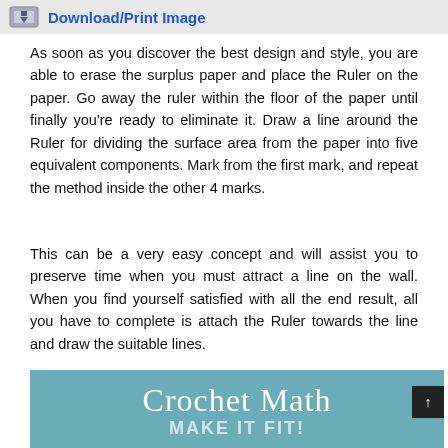Download/Print Image
As soon as you discover the best design and style, you are able to erase the surplus paper and place the Ruler on the paper. Go away the ruler within the floor of the paper until finally you’re ready to eliminate it. Draw a line around the Ruler for dividing the surface area from the paper into five equivalent components. Mark from the first mark, and repeat the method inside the other 4 marks.
This can be a very easy concept and will assist you to preserve time when you must attract a line on the wall. When you find yourself satisfied with all the end result, all you have to complete is attach the Ruler towards the line and draw the suitable lines.
[Figure (illustration): Teal/blue banner image with white text reading 'Crochet Math' and subtitle 'MAKE IT FIT!']